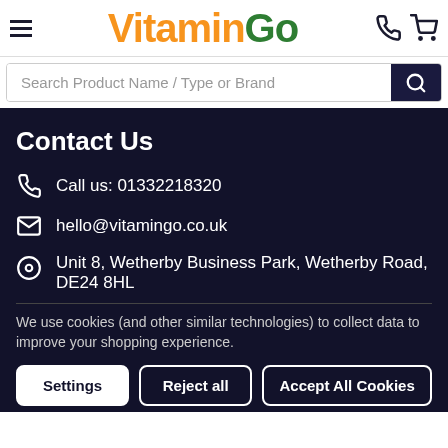VitaminGo header with hamburger menu, logo, phone icon, cart icon
Search Product Name / Type or Brand
Contact Us
Call us: 01332218320
hello@vitamingo.co.uk
Unit 8, Wetherby Business Park, Wetherby Road, DE24 8HL
We use cookies (and other similar technologies) to collect data to improve your shopping experience.
Settings
Reject all
Accept All Cookies